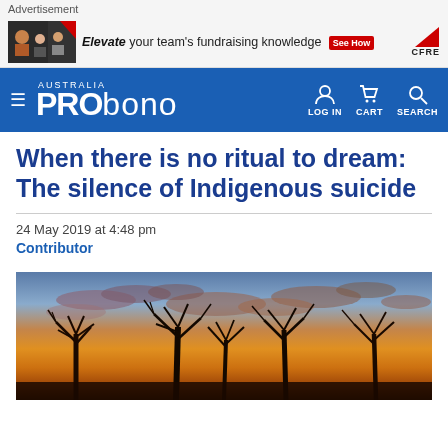Advertisement
[Figure (illustration): Advertisement banner: image of people on left, italic text 'Elevate your team's fundraising knowledge', red 'See How' button, CFRE logo on right]
[Figure (logo): Pro Bono Australia navigation bar with hamburger menu, PRObono AUSTRALIA logo, LOG IN, CART, SEARCH icons]
When there is no ritual to dream: The silence of Indigenous suicide
24 May 2019 at 4:48 pm
Contributor
[Figure (photo): Sunset landscape with silhouetted bare trees against an orange and purple sky with scattered clouds]